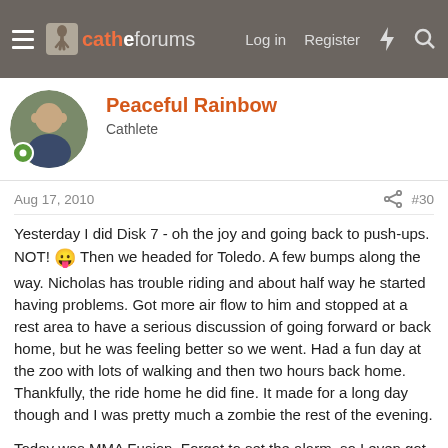cathe forums — Log in  Register
Peaceful Rainbow
Cathlete
Aug 17, 2010  #30
Yesterday I did Disk 7 - oh the joy and going back to push-ups. NOT! 😜 Then we headed for Toledo. A few bumps along the way. Nicholas has trouble riding and about half way he started having problems. Got more air flow to him and stopped at a rest area to have a serious discussion of going forward or back home, but he was feeling better so we went. Had a fun day at the zoo with lots of walking and then two hours back home. Thankfully, the ride home he did fine. It made for a long day though and I was pretty much a zombie the rest of the evening.
Today was MMA Fusion. Forgot to set the alarm, so I even got about an extra 20 minutes sleep. 😉
Janis I didn't go beyond looking at the calories in the fruititastas